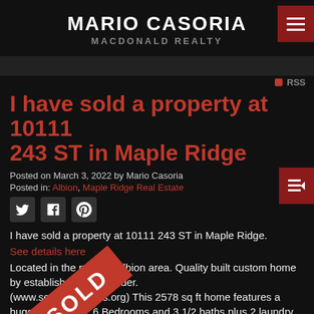MARIO CASORIA
MACDONALD REALTY
RSS
I have sold a property at 10111 243 ST in Maple Ridge
Posted on March 3, 2022 by Mario Casoria
Posted in: Albion, Maple Ridge Real Estate
[Figure (illustration): SOLD diagonal red ribbon stamp over property image]
I have sold a property at 10111 243 ST in Maple Ridge.
See details here
Located in the popular Albion area. Quality built custom home by established local builder. (www.seafronthomes.org) This 2578 sq ft home features a huge great room, 6 Bedrooms and 3 1/2 baths plus 2 laundry rooms. Two of the bedrooms can be easily used